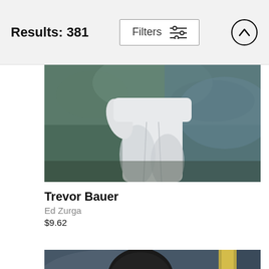Results: 381  Filters  [filter icon]  [up arrow]
[Figure (photo): Cropped photo of a baseball pitcher from the waist down, wearing white uniform with black belt, mid-pitch motion]
Trevor Bauer
Ed Zurga
$9.62
[Figure (photo): Baseball batter in white uniform with black helmet leaning forward in batting stance, making contact with ball visible at right, dark blue/yellow stadium background]